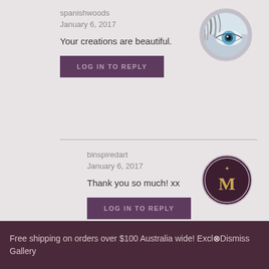spanishwoods
January 6, 2017
Your creations are beautiful.
LOG IN TO REPLY
[Figure (photo): Circular avatar photo showing a close-up of a blue eye with silver/grey hair]
binspiredart
January 6, 2017
Thank you so much! xx
LOG IN TO REPLY
[Figure (logo): Dark maroon circular avatar with letter M and small star above it in gold]
Free shipping on orders over $100 Australia wide! Excluding Gallery